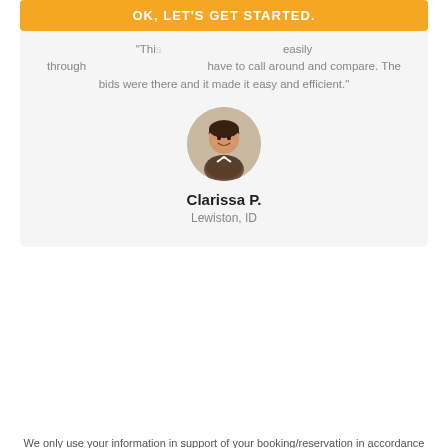[Figure (other): Orange CTA button with text 'OK, LET'S GET STARTED.' partially visible at top of testimonial card]
"This [text obscured by button] easily through[out... text obscured] have to call around and compare. The bids were there and it made it easy and efficient."
[Figure (photo): Circular avatar photo of Clarissa P., a woman smiling, sitting at a desk with a laptop]
Clarissa P.
Lewiston, ID
We only use your information in support of your booking/reservation in accordance with our Privacy Policy.